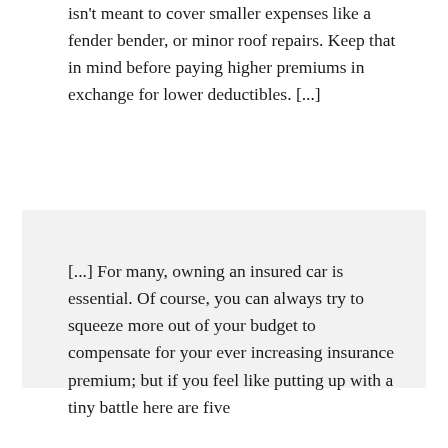isn't meant to cover smaller expenses like a fender bender, or minor roof repairs. Keep that in mind before paying higher premiums in exchange for lower deductibles. [...]
[...] For many, owning an insured car is essential. Of course, you can always try to squeeze more out of your budget to compensate for your ever increasing insurance premium; but if you feel like putting up with a tiny battle here are five